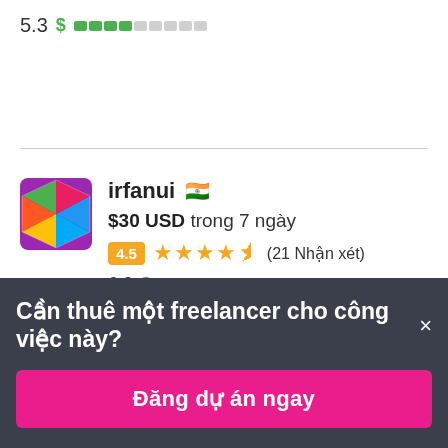5.3 $ [green bar indicator]
[Figure (screenshot): Freelancer profile card for user 'irfanui' from India showing $30 USD bid in 7 days, rating 4.5 with 21 reviews, score 6.0 with dollar bar]
irfanui 🇮🇳
$30 USD trong 7 ngày
4.5 ★★★★½ (21 Nhận xét)
6.0 $ [green bar indicator]
Cần thuê một freelancer cho công việc này? ×
Đăng dự án ngay